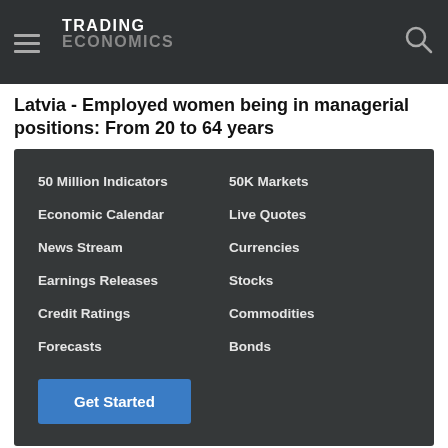TRADING ECONOMICS
Latvia - Employed women being in managerial positions: From 20 to 64 years
50 Million Indicators
50K Markets
Economic Calendar
Live Quotes
News Stream
Currencies
Earnings Releases
Stocks
Credit Ratings
Commodities
Forecasts
Bonds
Get Started